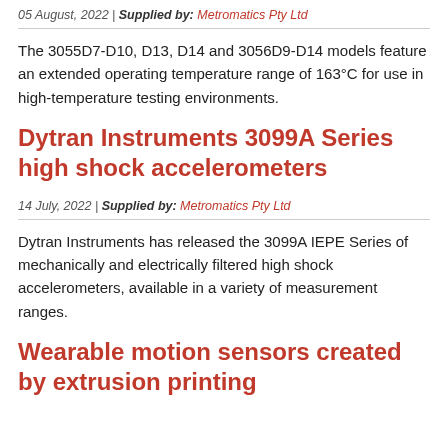05 August, 2022 | Supplied by: Metromatics Pty Ltd
The 3055D7-D10, D13, D14 and 3056D9-D14 models feature an extended operating temperature range of 163°C for use in high-temperature testing environments.
Dytran Instruments 3099A Series high shock accelerometers
14 July, 2022 | Supplied by: Metromatics Pty Ltd
Dytran Instruments has released the 3099A IEPE Series of mechanically and electrically filtered high shock accelerometers, available in a variety of measurement ranges.
Wearable motion sensors created by extrusion printing